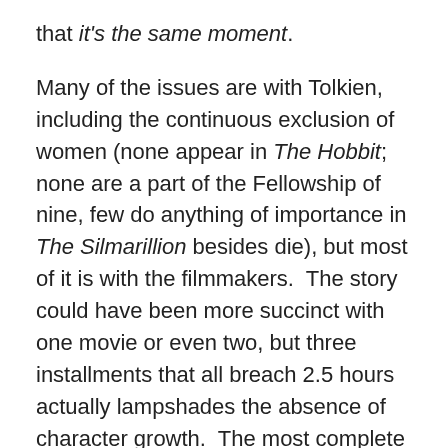that it's the same moment.
Many of the issues are with Tolkien, including the continuous exclusion of women (none appear in The Hobbit; none are a part of the Fellowship of nine, few do anything of importance in The Silmarillion besides die), but most of it is with the filmmakers.  The story could have been more succinct with one movie or even two, but three installments that all breach 2.5 hours actually lampshades the absence of character growth.  The most complete piece of the Hobbit film trilogy, The Battle of the Five Armies puts forth an (mostly) honest effort, and is, for the foreseeable future, the last one I'll get a chance to look at. Y'know, unless New Line greenlights an Azog n' Friends spinoff.
Read my writeup of The Desolation of Smaug here, and